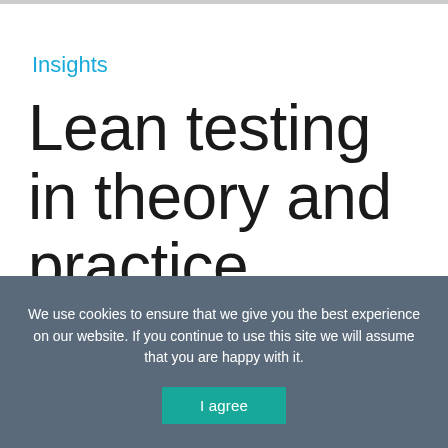Insights
Lean testing in theory and practice
There are many different definitions of
We use cookies to ensure that we give you the best experience on our website. If you continue to use this site we will assume that you are happy with it.
I agree